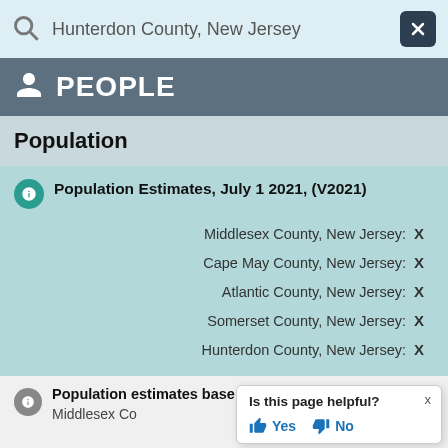Hunterdon County, New Jersey
PEOPLE
Population
Population Estimates, July 1 2021, (V2021)
Middlesex County, New Jersey: X
Cape May County, New Jersey: X
Atlantic County, New Jersey: X
Somerset County, New Jersey: X
Hunterdon County, New Jersey: X
Population estimates base, Ap
Middlesex Co
Is this page helpful? Yes No